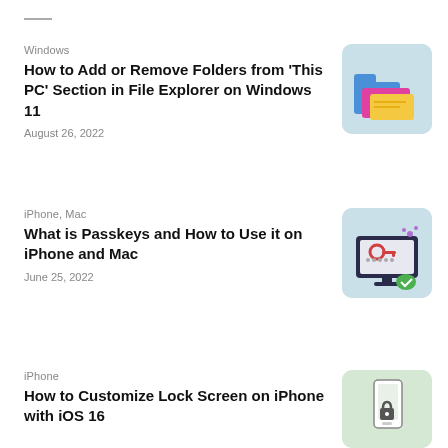Windows
How to Add or Remove Folders from 'This PC' Section in File Explorer on Windows 11
August 26, 2022
[Figure (illustration): Colorful folder icons illustration on light blue-gray background]
iPhone, Mac
What is Passkeys and How to Use it on iPhone and Mac
June 25, 2022
[Figure (illustration): Computer monitor with key and security icons illustration on light blue-gray background]
iPhone
How to Customize Lock Screen on iPhone with iOS 16